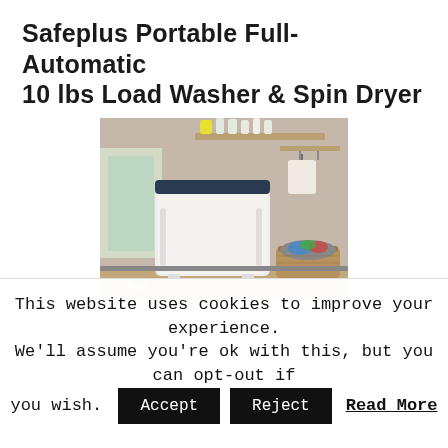Safeplus Portable Full-Automatic 10 lbs Load Washer & Spin Dryer
[Figure (photo): A white portable top-loading washing machine with a dark blue lid, placed in a laundry room corner. A shelf with laundry detergent bottles is mounted on the wall above, a fabric bag hangs on wall hooks to the right, and a wicker laundry basket filled with colorful clothes sits on the floor to the right of the machine.]
This website uses cookies to improve your experience. We'll assume you're ok with this, but you can opt-out if you wish. Accept Reject Read More